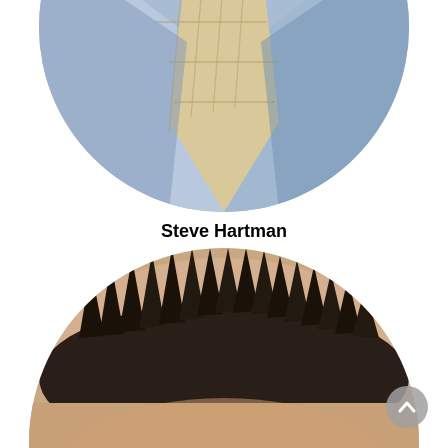[Figure (photo): Circular cropped photo showing the bottom portion of a person's face/neck area with a light blue dress shirt and a beige/tan plaid tie. Only the collar and tie area is visible.]
Steve Hartman
Lafayette
Class of 2012
[Figure (photo): Circular cropped photo showing the top of a man's head with short dark brown/black spiky hair, and the upper portion of his forehead. He appears to be wearing glasses at the very bottom of the visible area.]